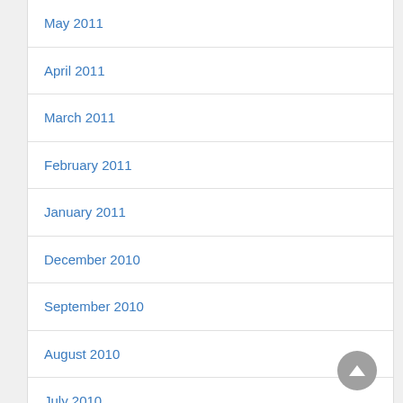May 2011
April 2011
March 2011
February 2011
January 2011
December 2010
September 2010
August 2010
July 2010
May 2010
April 2010
March 2010